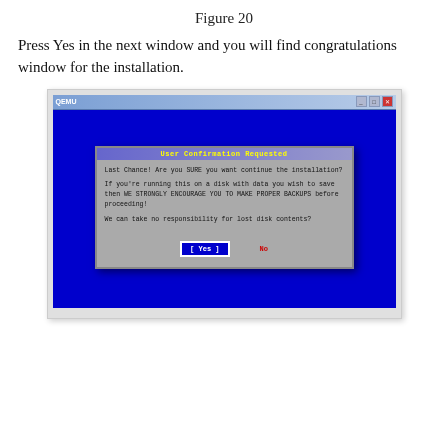Figure 20
Press Yes in the next window and you will find congratulations window for the installation.
[Figure (screenshot): Screenshot of a Linux installer dialog titled 'User Confirmation Requested' with text warning about disk data loss and asking if the user is sure about continuing the installation. Two buttons shown: Yes (highlighted) and No.]